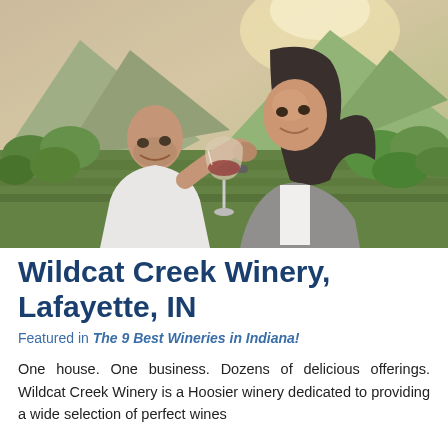[Figure (photo): A couple sharing a glass of red wine in a vineyard with green hills in the background. The man is bald with stubble wearing a white t-shirt; the woman has long dark hair wearing a gray cardigan. They are leaning toward each other sharing a wine glass.]
Wildcat Creek Winery, Lafayette, IN
Featured in The 9 Best Wineries in Indiana!
One house. One business. Dozens of delicious offerings. Wildcat Creek Winery is a Hoosier winery dedicated to providing a wide selection of perfect wines